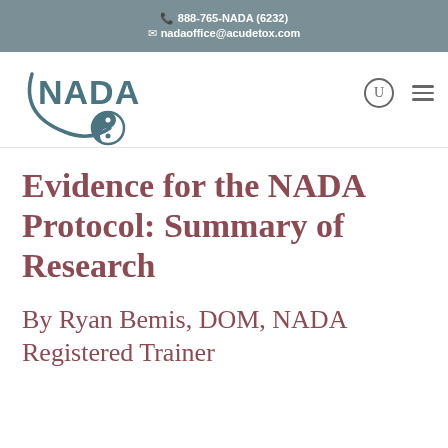888-765-NADA (6232)
nadaoffice@acudetox.com
[Figure (logo): NADA logo with yin-yang symbol and curved swoosh]
Evidence for the NADA Protocol: Summary of Research
By Ryan Bemis, DOM, NADA Registered Trainer